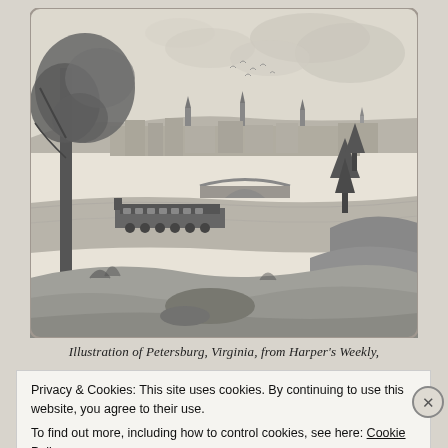[Figure (illustration): Black and white engraving/illustration of Petersburg, Virginia. The scene shows a panoramic view of the town from an elevated vantage point, with a large tree on the left, a river in the middle ground, a train with passenger cars along the riverbank, an arched stone bridge, church steeples and buildings in the background, evergreen trees on the right, and rolling hills and rocky terrain in the foreground.]
Illustration of Petersburg, Virginia, from Harper's Weekly,
Privacy & Cookies: This site uses cookies. By continuing to use this website, you agree to their use.
To find out more, including how to control cookies, see here: Cookie Policy
Close and accept